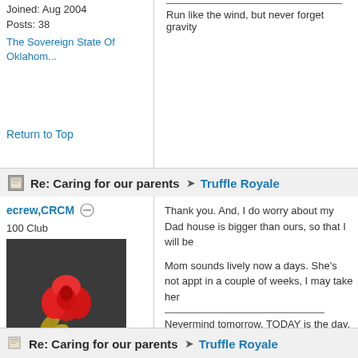Joined: Aug 2004
Posts: 38
The Sovereign State Of Oklahom...
Run like the wind, but never forget gravity
Return to Top
Re: Caring for our parents → Truffle Royale
ecrew,CRCM
100 Club
[Figure (photo): Avatar image of a red rose with gold leaves on a dark background]
Joined: Apr 2010
Posts: 204
Fl
Thank you. And, I do worry about my Dad house is bigger than ours, so that I will be
Mom sounds lively now a days. She's not appt in a couple of weeks, I may take her
Nevermind tomorrow, TODAY is the day.
Return to Top
Re: Caring for our parents → Truffle Royale